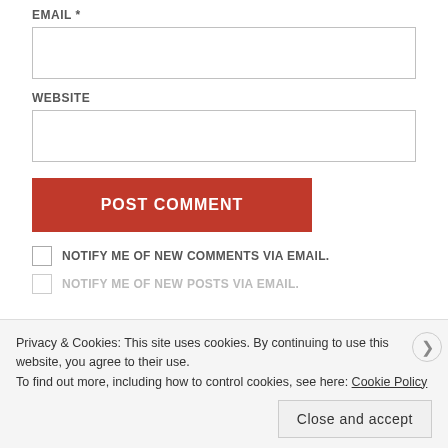EMAIL *
[Figure (screenshot): Empty email input text field]
WEBSITE
[Figure (screenshot): Empty website input text field]
[Figure (screenshot): POST COMMENT button, red background]
NOTIFY ME OF NEW COMMENTS VIA EMAIL.
NOTIFY ME OF NEW POSTS VIA EMAIL.
Privacy & Cookies: This site uses cookies. By continuing to use this website, you agree to their use.
To find out more, including how to control cookies, see here: Cookie Policy
Close and accept